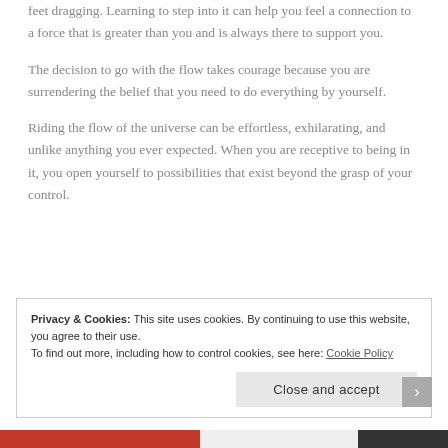feet dragging. Learning to step into it can help you feel a connection to a force that is greater than you and is always there to support you.
The decision to go with the flow takes courage because you are surrendering the belief that you need to do everything by yourself.
Riding the flow of the universe can be effortless, exhilarating, and unlike anything you ever expected. When you are receptive to being in it, you open yourself to possibilities that exist beyond the grasp of your control.
Privacy & Cookies: This site uses cookies. By continuing to use this website, you agree to their use. To find out more, including how to control cookies, see here: Cookie Policy
Close and accept